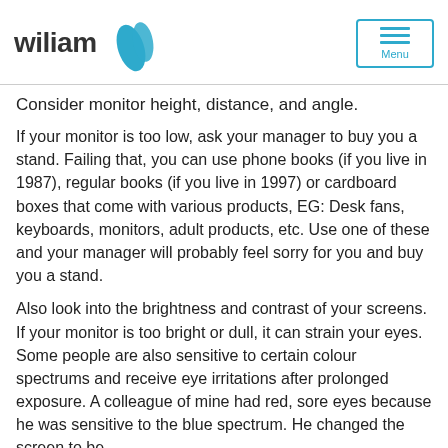[Figure (logo): Wiliam logo with blue feather/leaf icon and the text 'wiliam' in dark grey, plus a menu button in top right with teal horizontal lines and 'Menu' label]
Consider monitor height, distance, and angle.
If your monitor is too low, ask your manager to buy you a stand. Failing that, you can use phone books (if you live in 1987), regular books (if you live in 1997) or cardboard boxes that come with various products, EG: Desk fans, keyboards, monitors, adult products, etc. Use one of these and your manager will probably feel sorry for you and buy you a stand.
Also look into the brightness and contrast of your screens. If your monitor is too bright or dull, it can strain your eyes. Some people are also sensitive to certain colour spectrums and receive eye irritations after prolonged exposure. A colleague of mine had red, sore eyes because he was sensitive to the blue spectrum. He changed the screen to be